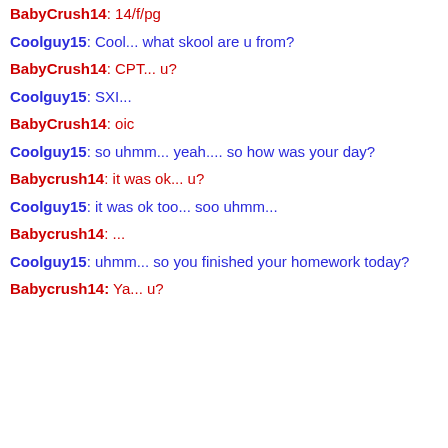BabyCrush14: 14/f/pg
Coolguy15: Cool... what skool are u from?
BabyCrush14: CPT... u?
Coolguy15: SXI...
BabyCrush14: oic
Coolguy15: so uhmm... yeah.... so how was your day?
Babycrush14: it was ok... u?
Coolguy15: it was ok too... soo uhmm...
Babycrush14: ...
Coolguy15: uhmm... so you finished your homework today?
Babycrush14: Ya... u?